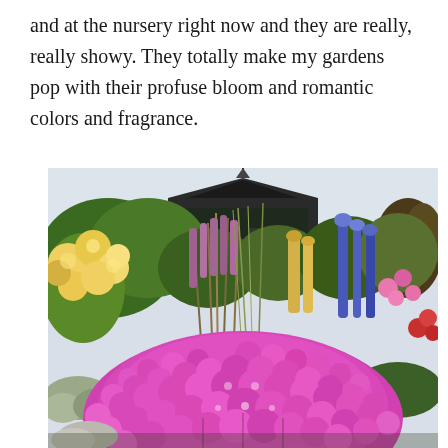and at the nursery right now and they are really, really showy. They totally make my gardens pop with their profuse bloom and romantic colors and fragrance.
[Figure (photo): A colorful garden scene with a large mound of bright pink/magenta flowers in the foreground, yellow roses on the left, various wildflowers and tall spiked plants in the middle, blue delphiniums on the right, and a dark-roofed building/greenhouse in the background with a pale sky.]